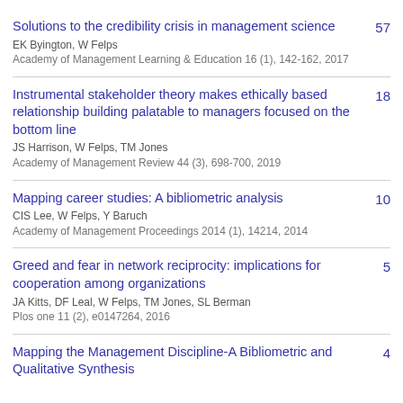Solutions to the credibility crisis in management science | EK Byington, W Felps | Academy of Management Learning & Education 16 (1), 142-162, 2017 | 57
Instrumental stakeholder theory makes ethically based relationship building palatable to managers focused on the bottom line | JS Harrison, W Felps, TM Jones | Academy of Management Review 44 (3), 698-700, 2019 | 18
Mapping career studies: A bibliometric analysis | CIS Lee, W Felps, Y Baruch | Academy of Management Proceedings 2014 (1), 14214, 2014 | 10
Greed and fear in network reciprocity: implications for cooperation among organizations | JA Kitts, DF Leal, W Felps, TM Jones, SL Berman | Plos one 11 (2), e0147264, 2016 | 5
Mapping the Management Discipline-A Bibliometric and Qualitative Synthesis | 4